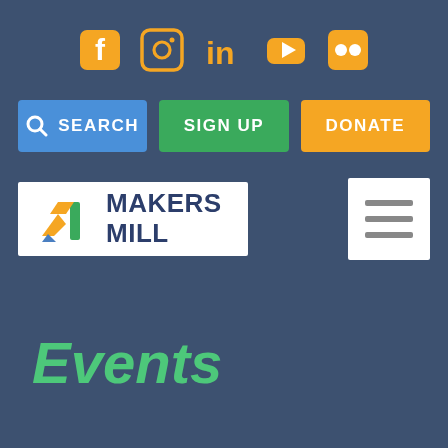[Figure (infographic): Row of 5 social media icons (Facebook, Instagram, LinkedIn, YouTube, Flickr) in orange/amber color on dark blue background]
[Figure (infographic): Three navigation buttons: SEARCH (blue), SIGN UP (green), DONATE (orange)]
[Figure (logo): Makers Mill logo — stylized M with orange arrow, green bar, blue triangle, and text MAKERS MILL in dark blue on white background]
[Figure (infographic): Hamburger menu icon (three horizontal lines) in white box]
Events